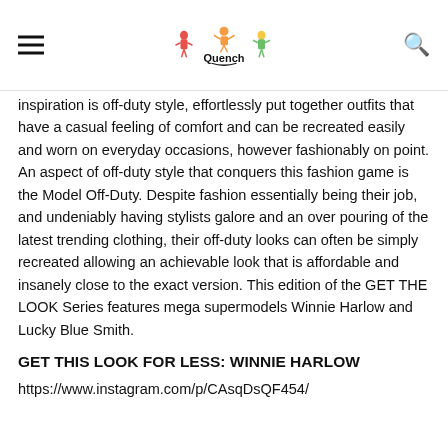Quench
inspiration is off-duty style, effortlessly put together outfits that have a casual feeling of comfort and can be recreated easily and worn on everyday occasions, however fashionably on point. An aspect of off-duty style that conquers this fashion game is the Model Off-Duty. Despite fashion essentially being their job, and undeniably having stylists galore and an over pouring of the latest trending clothing, their off-duty looks can often be simply recreated allowing an achievable look that is affordable and insanely close to the exact version. This edition of the GET THE LOOK Series features mega supermodels Winnie Harlow and Lucky Blue Smith.
GET THIS LOOK FOR LESS: WINNIE HARLOW
https://www.instagram.com/p/CAsqDsQF454/